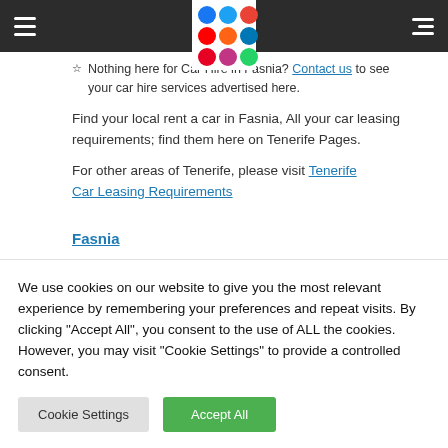Navigation bar with hamburger menu, social icons, and list icon
Nothing here for Car Hire in Fasnia? Contact us to see your car hire services advertised here.
Find your local rent a car in Fasnia, All your car leasing requirements; find them here on Tenerife Pages.
For other areas of Tenerife, please visit Tenerife Car Leasing Requirements
Fasnia
Bar and Pubs in Fasnia
We use cookies on our website to give you the most relevant experience by remembering your preferences and repeat visits. By clicking "Accept All", you consent to the use of ALL the cookies. However, you may visit "Cookie Settings" to provide a controlled consent.